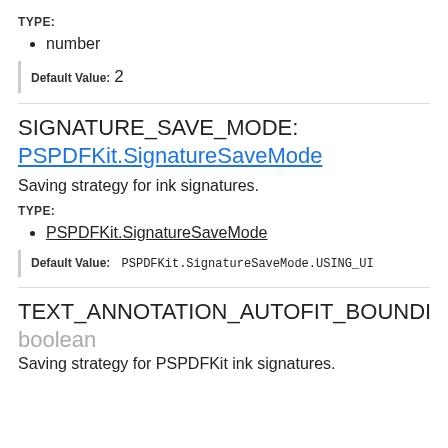TYPE:
number
Default Value: 2
SIGNATURE_SAVE_MODE: PSPDFKit.SignatureSaveMode
Saving strategy for ink signatures.
TYPE:
PSPDFKit.SignatureSaveMode
Default Value: PSPDFKit.SignatureSaveMode.USING_UI
TEXT_ANNOTATION_AUTOFIT_BOUNDING_BOX_C boolean
Saving strategy for PSPDFKit ink signatures.